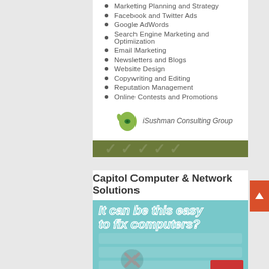Marketing Planning and Strategy
Facebook and Twitter Ads
Google AdWords
Search Engine Marketing and Optimization
Email Marketing
Newsletters and Blogs
Website Design
Copywriting and Editing
Reputation Management
Online Contests and Promotions
[Figure (logo): iSushman Consulting Group logo with green hand icon]
[Figure (illustration): Dark olive green decorative banner]
Capitol Computer & Network Solutions
[Figure (photo): Advertisement image showing keyboard with text 'It can be this easy to fix computers?' in teal/white bold italic font]